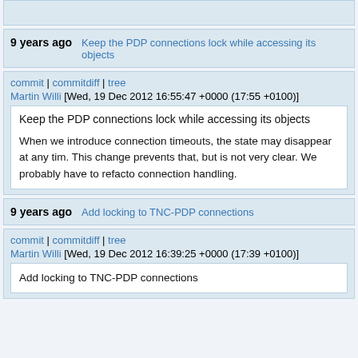9 years ago   Keep the PDP connections lock while accessing its objects
commit | commitdiff | tree
Martin Willi [Wed, 19 Dec 2012 16:55:47 +0000 (17:55 +0100)]
Keep the PDP connections lock while accessing its objects

When we introduce connection timeouts, the state may disappear at any tim. This change prevents that, but is not very clear. We probably have to refacto connection handling.
9 years ago   Add locking to TNC-PDP connections
commit | commitdiff | tree
Martin Willi [Wed, 19 Dec 2012 16:39:25 +0000 (17:39 +0100)]
Add locking to TNC-PDP connections